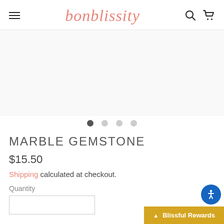bonblissity
[Figure (other): Product image carousel area — white/empty image placeholder with 4 navigation dots below (first dot active/dark, three inactive/light)]
MARBLE GEMSTONE
$15.50
Shipping calculated at checkout.
Quantity
[Figure (infographic): Blissful Rewards button (gold background, white text) and accessibility icon (blue circle with person icon)]